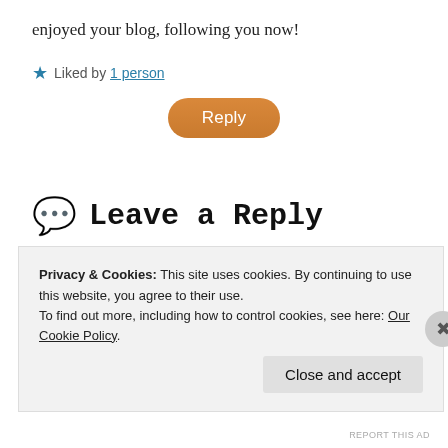enjoyed your blog, following you now!
★ Liked by 1 person
[Figure (other): Orange rounded Reply button]
Leave a Reply
Your email address will not be published. Required
Privacy & Cookies: This site uses cookies. By continuing to use this website, you agree to their use. To find out more, including how to control cookies, see here: Our Cookie Policy.
Close and accept
REPORT THIS AD